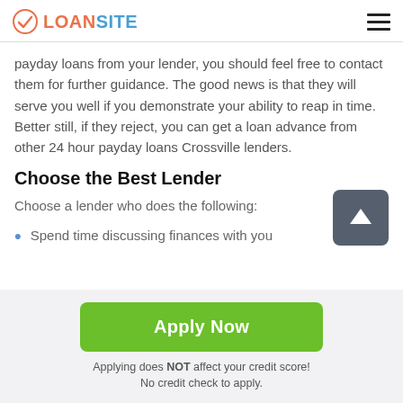LOANSITE
payday loans from your lender, you should feel free to contact them for further guidance. The good news is that they will serve you well if you demonstrate your ability to reap in time. Better still, if they reject, you can get a loan advance from other 24 hour payday loans Crossville lenders.
Choose the Best Lender
Choose a lender who does the following:
Spend time discussing finances with you
Apply Now
Applying does NOT affect your credit score! No credit check to apply.